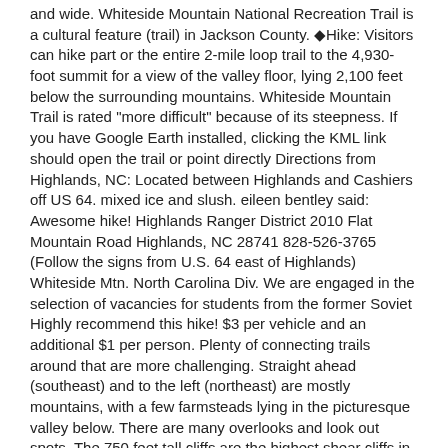and wide. Whiteside Mountain National Recreation Trail is a cultural feature (trail) in Jackson County. ◆Hike: Visitors can hike part or the entire 2-mile loop trail to the 4,930-foot summit for a view of the valley floor, lying 2,100 feet below the surrounding mountains. Whiteside Mountain Trail is rated "more difficult" because of its steepness. If you have Google Earth installed, clicking the KML link should open the trail or point directly Directions from Highlands, NC: Located between Highlands and Cashiers off US 64. mixed ice and slush. eileen bentley said: Awesome hike! Highlands Ranger District 2010 Flat Mountain Road Highlands, NC 28741 828-526-3765 (Follow the signs from U.S. 64 east of Highlands) Whiteside Mtn. North Carolina Div. We are engaged in the selection of vacancies for students from the former Soviet Highly recommend this hike! $3 per vehicle and an additional $1 per person. Plenty of connecting trails around that are more challenging. Straight ahead (southeast) and to the left (northeast) are mostly mountains, with a few farmsteads lying in the picturesque valley below. There are many overlooks and look out spots. The 750 feet tall cliffs are the highest shear cliffs in the eastern United States. Whiteside Mountain dominates the landscape between Highlands and Cashiers, rising more than 2,000 feet from the valley floor, with sheer cliffs more than 700 feet high. You'll cross a wet-weather stream, then reach the point where the loop splits. This is a self service fee location. It is licensed by Creative Commons Attribution 3.0. Cole Mountain and Shortoff Mountain via Yellow Mountain Trail, Whiteside Mountain National Recreation Trail. North Carolina: Whiteside Mountain Trail. We hiked it the day after a hard rain and it was muddy and wet but passable in tennis shoes. Of Travel and Tourism, 301 N. Wilmington Street, Raleigh, NC 27601, Phone: 919